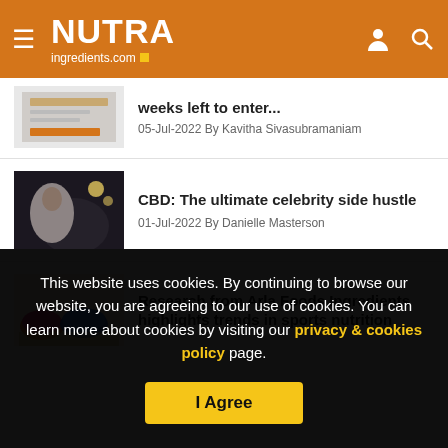NUTRAingredients.com
weeks left to enter...
05-Jul-2022 By Kavitha Sivasubramaniam
CBD: The ultimate celebrity side hustle
01-Jul-2022 By Danielle Masterson
Research from Arla Foods Ingredients highlights trends in sports nutrition
This website uses cookies. By continuing to browse our website, you are agreeing to our use of cookies. You can learn more about cookies by visiting our privacy & cookies policy page.
I Agree